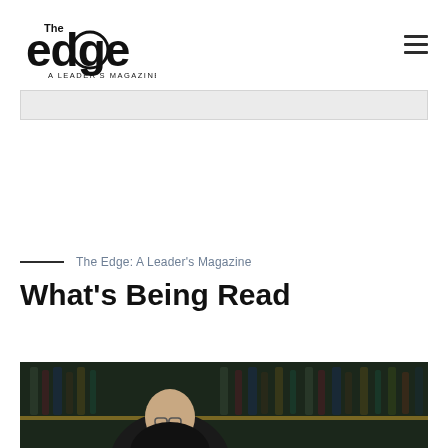The Edge: A Leader's Magazine — navigation header with logo and hamburger menu
The Edge: A Leader's Magazine
What's Being Read
[Figure (photo): A man wearing glasses seated in front of a bar shelf stocked with bottles of wine and spirits, photographed in dim moody lighting.]